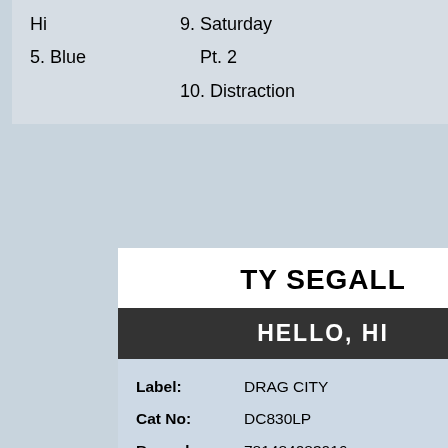Hi
5. Blue
9. Saturday Pt. 2
10. Distraction
TY SEGALL
HELLO, HI
| Label: | DRAG CITY |
| Cat No: | DC830LP |
| Barcode: | 781484083016 |
| Packaging: | LP Regular |
On order. Delivery expected between 2 weeks and 3 months.
$47
salty rem before the abrupt cru the title electrifies the Good morning's turned t mourning in nothing flat but there's still a way u the doldrums, to try agai can't it be just as sim "Hello, Hi"? What to do with yourself when triggers loathing? How more times do you hav